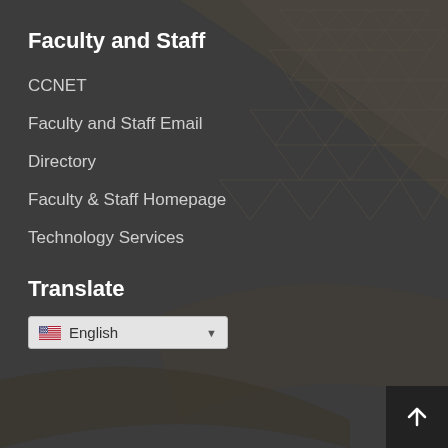Faculty and Staff
CCNET
Faculty and Staff Email
Directory
Faculty & Staff Homepage
Technology Services
Translate
English